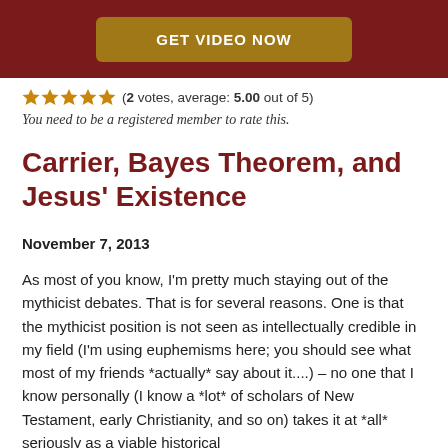[Figure (other): GET VIDEO NOW button on dark red background header bar]
(2 votes, average: 5.00 out of 5)
You need to be a registered member to rate this.
Carrier, Bayes Theorem, and Jesus' Existence
November 7, 2013
As most of you know, I'm pretty much staying out of the mythicist debates. That is for several reasons. One is that the mythicist position is not seen as intellectually credible in my field (I'm using euphemisms here; you should see what most of my friends *actually* say about it....) – no one that I know personally (I know a *lot* of scholars of New Testament, early Christianity, and so on) takes it at *all* seriously as a viable historical